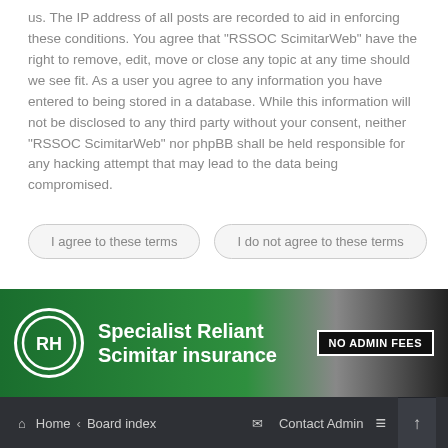us. The IP address of all posts are recorded to aid in enforcing these conditions. You agree that "RSSOC ScimitarWeb" have the right to remove, edit, move or close any topic at any time should we see fit. As a user you agree to any information you have entered to being stored in a database. While this information will not be disclosed to any third party without your consent, neither "RSSOC ScimitarWeb" nor phpBB shall be held responsible for any hacking attempt that may lead to the data being compromised.
I agree to these terms
I do not agree to these terms
[Figure (other): Advertisement banner for Specialist Reliant Scimitar insurance with RH logo and NO ADMIN FEES badge]
Home  Board index  Contact Admin
Powered by phpBB™